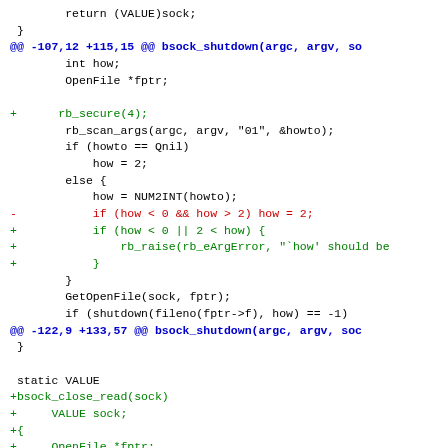[Figure (screenshot): Code diff showing changes to bsock_shutdown and bsock_close_read functions in a C source file, displayed as a unified diff with context lines in black, additions in green, deletions in red, and hunk headers in blue.]